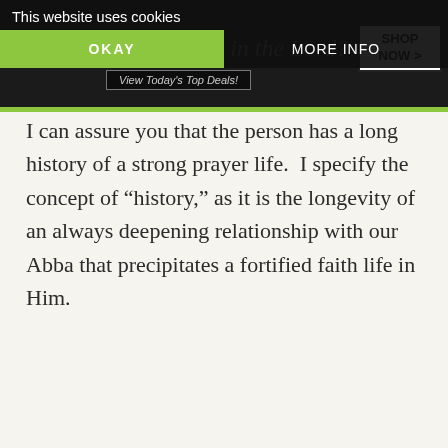This website uses cookies | OKAY | MORE INFO
I can assure you that the person has a long history of a strong prayer life. I specify the concept of “history,” as it is the longevity of an always deepening relationship with our Abba that precipitates a fortified faith life in Him.
[Figure (infographic): Advertisement: 37 Items People Love to Purchase on Amazon, with 22 Words logo and headphone image]
Search for
1.  Prayer for Financial Help